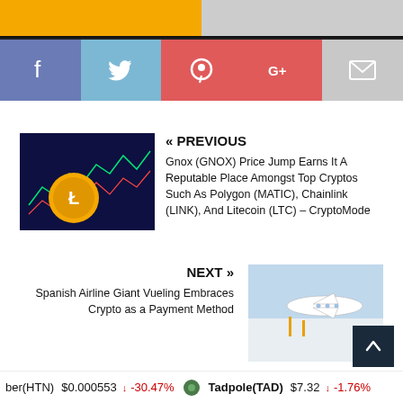[Figure (illustration): Top banner with gold and grey gradient, black bottom border]
[Figure (infographic): Social media share buttons row: Facebook (blue-grey), Twitter (light blue), Pinterest (red), Google+ (red), Email (grey)]
« PREVIOUS
Gnox (GNOX) Price Jump Earns It A Reputable Place Amongst Top Cryptos Such As Polygon (MATIC), Chainlink (LINK), And Litecoin (LTC) – CryptoMode
NEXT »
Spanish Airline Giant Vueling Embraces Crypto as a Payment Method
ADVERTISEMENT
ber(HTN)  $0.000553  ↓  -30.47%    Tadpole(TAD)  $7.32  ↓  -1.76%